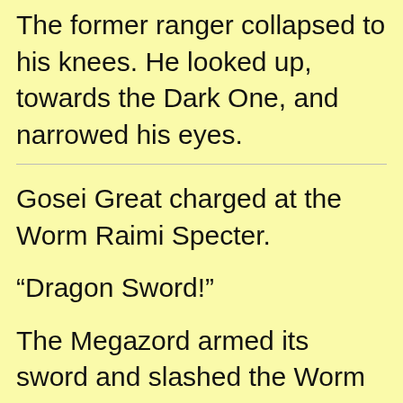The former ranger collapsed to his knees. He looked up, towards the Dark One, and narrowed his eyes.
Gosei Great charged at the Worm Raimi Specter.
“Dragon Sword!”
The Megazord armed its sword and slashed the Worm Specter with bursts of spark, bashing him aside. The blow knocked the villain’s tendrils away from Goki